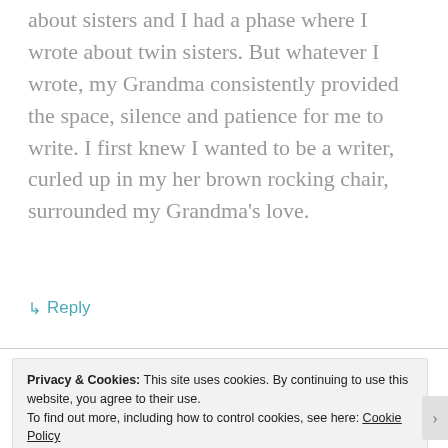about sisters and I had a phase where I wrote about twin sisters. But whatever I wrote, my Grandma consistently provided the space, silence and patience for me to write. I first knew I wanted to be a writer, curled up in my her brown rocking chair, surrounded my Grandma's love.
↳ Reply
Privacy & Cookies: This site uses cookies. By continuing to use this website, you agree to their use.
To find out more, including how to control cookies, see here: Cookie Policy
Close and accept